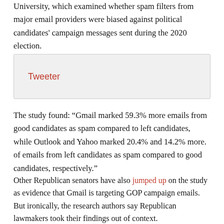University, which examined whether spam filters from major email providers were biased against political candidates' campaign messages sent during the 2020 election.
[Figure (other): Embedded tweet box with red link text 'Tweeter' on a light gray background]
The study found: “Gmail marked 59.3% more emails from good candidates as spam compared to left candidates, while Outlook and Yahoo marked 20.4% and 14.2% more. of emails from left candidates as spam compared to good candidates, respectively.”
Other Republican senators have also jumped up on the study as evidence that Gmail is targeting GOP campaign emails. But ironically, the research authors say Republican lawmakers took their findings out of context.
One of the authors Told The Washington Post their study found that